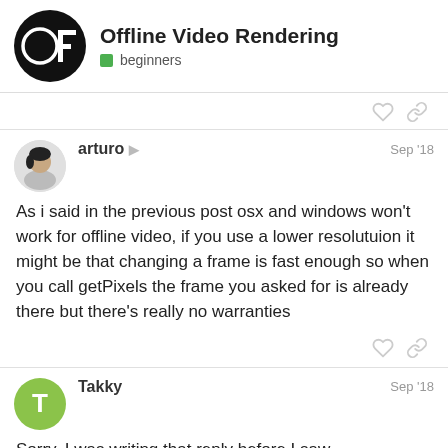Offline Video Rendering — beginners
As i said in the previous post osx and windows won't work for offline video, if you use a lower resolutuion it might be that changing a frame is fast enough so when you call getPixels the frame you asked for is already there but there's really no warranties
arturo — Sep '18
Takky — Sep '18
Sorry, I was writing that reply before I saw
3 / 8